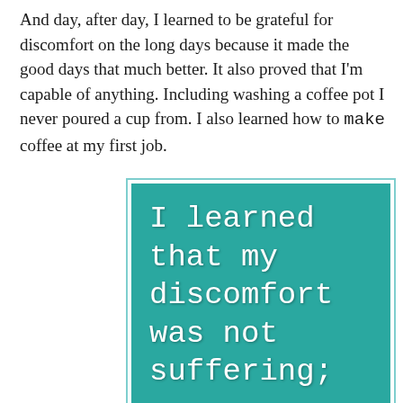And day, after day, I learned to be grateful for discomfort on the long days because it made the good days that much better. It also proved that I'm capable of anything. Including washing a coffee pot I never poured a cup from. I also learned how to make coffee at my first job.
[Figure (illustration): Teal/green rectangle with white serif text reading: 'I learned that my discomfort was not suffering;' on a teal background, bordered by a light blue/teal frame.]